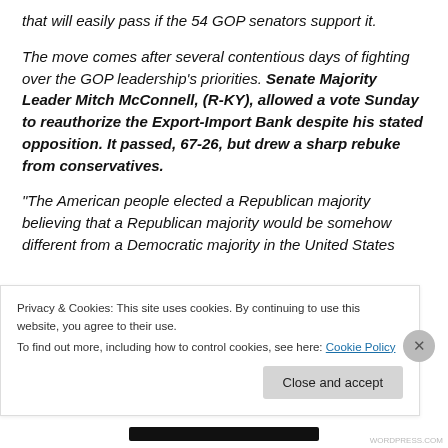that will easily pass if the 54 GOP senators support it.
The move comes after several contentious days of fighting over the GOP leadership's priorities. Senate Majority Leader Mitch McConnell, (R-KY), allowed a vote Sunday to reauthorize the Export-Import Bank despite his stated opposition. It passed, 67-26, but drew a sharp rebuke from conservatives.
“The American people elected a Republican majority believing that a Republican majority would be somehow different from a Democratic majority in the United States
Privacy & Cookies: This site uses cookies. By continuing to use this website, you agree to their use.
To find out more, including how to control cookies, see here: Cookie Policy
Close and accept